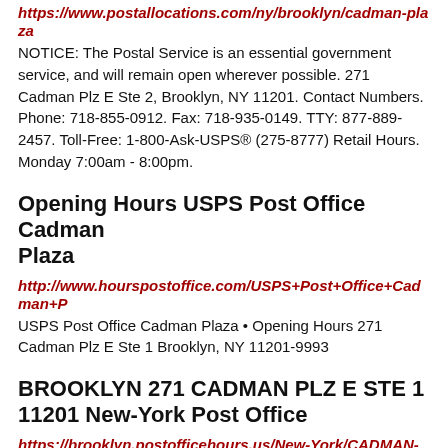https://www.postallocations.com/ny/brooklyn/cadman-plaza
NOTICE: The Postal Service is an essential government service, and will remain open wherever possible. 271 Cadman Plz E Ste 2, Brooklyn, NY 11201. Contact Numbers. Phone: 718-855-0912. Fax: 718-935-0149. TTY: 877-889-2457. Toll-Free: 1-800-Ask-USPS® (275-8777) Retail Hours. Monday 7:00am - 8:00pm.
Opening Hours USPS Post Office Cadman Plaza
http://www.hourspostoffice.com/USPS+Post+Office+Cadman+P
USPS Post Office Cadman Plaza • Opening Hours 271 Cadman Plz E Ste 1 Brooklyn, NY 11201-9993
BROOKLYN 271 CADMAN PLZ E STE 1 11201 New-York Post Office
https://brooklyn.postofficehours.us/New-York/CADMAN-PLAZA/271-CADMAN-PLZ-E-STE-1-11201/
Hours of operation. Mon-Fri 7:00am - 8:00pm; Sat 7:00am -